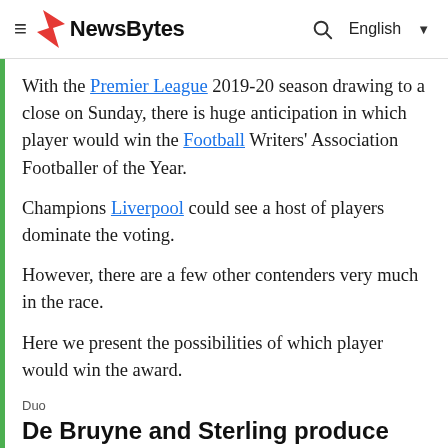NewsBytes  English
With the Premier League 2019-20 season drawing to a close on Sunday, there is huge anticipation in which player would win the Football Writers' Association Footballer of the Year.
Champions Liverpool could see a host of players dominate the voting.
However, there are a few other contenders very much in the race.
Here we present the possibilities of which player would win the award.
Duo
De Bruyne and Sterling produce some terrific numbers for City
Kevin De Bruyne has registered a staggering 19 assists this season. The Belgian also had a brilliant passing accuracy of...